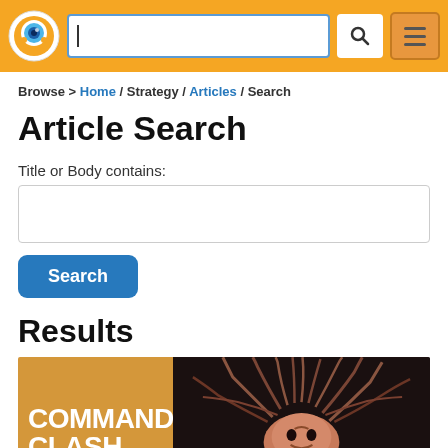Navigation header with logo, search bar, and menu button
Browse > Home / Strategy / Articles / Search
Article Search
Title or Body contains:
Search
Results
[Figure (illustration): Commander Clash article thumbnail with golden yellow left panel showing 'COMMANDER CLASH' text and right panel showing a fantasy creature with flowing tentacle-like hair]